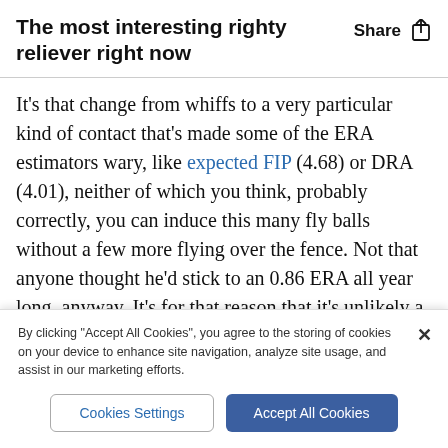The most interesting righty reliever right now
It's that change from whiffs to a very particular kind of contact that's made some of the ERA estimators wary, like expected FIP (4.68) or DRA (4.01), neither of which you think, probably correctly, you can induce this many fly balls without a few more flying over the fence. Not that anyone thought he'd stick to an 0.86 ERA all year long, anyway. It's for that reason that it's unlikely a contending team would likely trade
By clicking "Accept All Cookies", you agree to the storing of cookies on your device to enhance site navigation, analyze site usage, and assist in our marketing efforts.